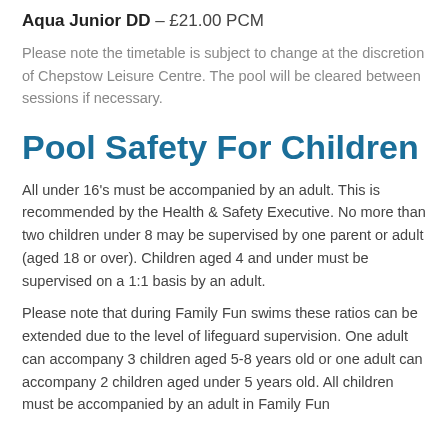Aqua Junior DD – £21.00 PCM
Please note the timetable is subject to change at the discretion of Chepstow Leisure Centre. The pool will be cleared between sessions if necessary.
Pool Safety For Children
All under 16's must be accompanied by an adult. This is recommended by the Health & Safety Executive. No more than two children under 8 may be supervised by one parent or adult (aged 18 or over). Children aged 4 and under must be supervised on a 1:1 basis by an adult.
Please note that during Family Fun swims these ratios can be extended due to the level of lifeguard supervision. One adult can accompany 3 children aged 5-8 years old or one adult can accompany 2 children aged under 5 years old. All children must be accompanied by an adult in Family Fun...